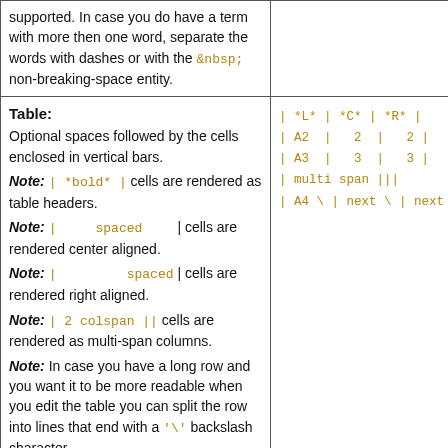supported. In case you do have a term with more then one word, separate the words with dashes or with the &nbsp; non-breaking-space entity.
Table: Optional spaces followed by the cells enclosed in vertical bars. Note: | *bold* | cells are rendered as table headers. Note: | spaced | cells are rendered center aligned. Note: | spaced | cells are rendered right aligned. Note: | 2 colspan || cells are rendered as multi-span columns. Note: In case you have a long row and you want it to be more readable when you edit the table you can split the row into lines that end with a '\' backslash character.
[Figure (other): Monospace syntax example showing table markup with | *L* | *C* | *R* | header row, data rows A2/A3 with values 2 and 3, a multi-span row, and a continuation row with backslash.]